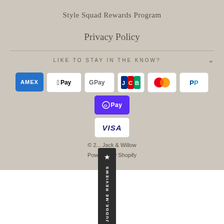Style Squad Rewards Program
Privacy Policy
LIKE TO STAY IN THE KNOW?
[Figure (other): Payment method icons: American Express, Apple Pay, Google Pay, JCB, Mastercard, PayPal, Shop Pay, Visa]
© 2... Jack & Willow
Powered by Shopify
[Figure (logo): Judge.me Reviews vertical badge]